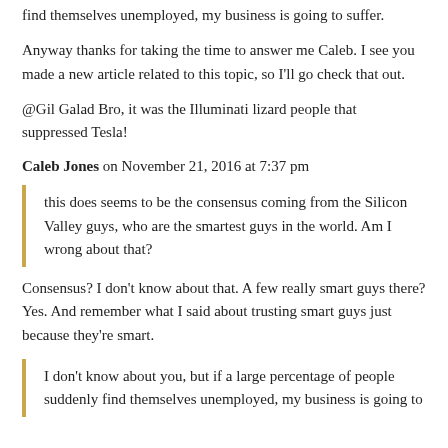find themselves unemployed, my business is going to suffer.
Anyway thanks for taking the time to answer me Caleb. I see you made a new article related to this topic, so I'll go check that out.
@Gil Galad Bro, it was the Illuminati lizard people that suppressed Tesla!
Caleb Jones on November 21, 2016 at 7:37 pm
this does seems to be the consensus coming from the Silicon Valley guys, who are the smartest guys in the world. Am I wrong about that?
Consensus? I don't know about that. A few really smart guys there? Yes. And remember what I said about trusting smart guys just because they're smart.
I don't know about you, but if a large percentage of people suddenly find themselves unemployed, my business is going to